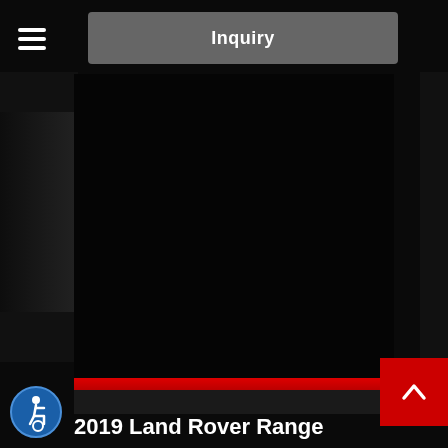[Figure (screenshot): Hamburger menu icon (three horizontal white lines) at top left]
Inquiry
[Figure (photo): Large dark/black vehicle photo area in center of page, car barely visible against dark background]
[Figure (other): Red scroll-to-top button with white upward chevron arrow at right side]
2019 Land Rover Range
[Figure (other): Accessibility icon: blue circle with white wheelchair user figure]